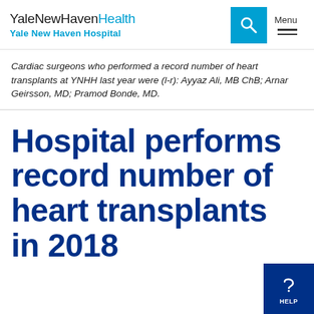YaleNewHavenHealth Yale New Haven Hospital
Cardiac surgeons who performed a record number of heart transplants at YNHH last year were (l-r): Ayyaz Ali, MB ChB; Arnar Geirsson, MD; Pramod Bonde, MD.
Hospital performs record number of heart transplants in 2018